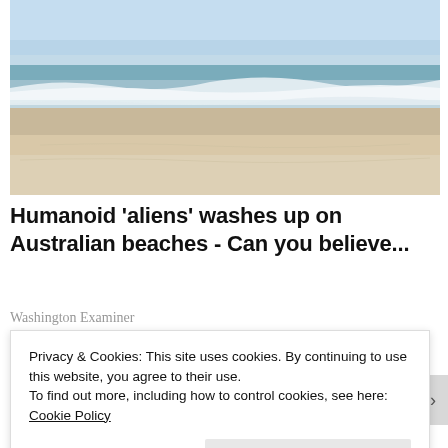[Figure (photo): A wide sandy beach with ocean waves breaking on the shore under a light blue sky. The beach sand is light tan and the water shows white foam from the waves.]
Humanoid 'aliens' washes up on Australian beaches - Can you believe...
Washington Examiner
[Figure (photo): Partially visible thumbnail images of additional article photos, showing what appears to be a dark oval shape.]
Privacy & Cookies: This site uses cookies. By continuing to use this website, you agree to their use.
To find out more, including how to control cookies, see here: Cookie Policy
Close and accept